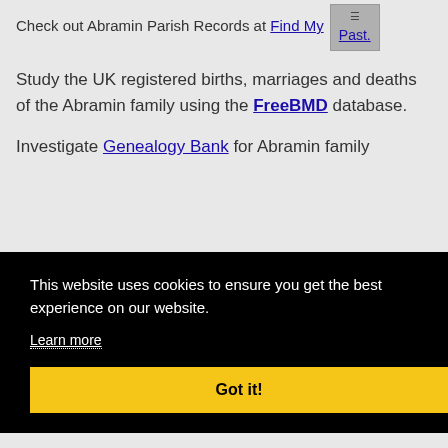Check out Abramin Parish Records at Find My Past.
Study the UK registered births, marriages and deaths of the Abramin family using the FreeBMD database.
Investigate Genealogy Bank for Abramin family
This website uses cookies to ensure you get the best experience on our website.
Learn more
Got it!
ta.